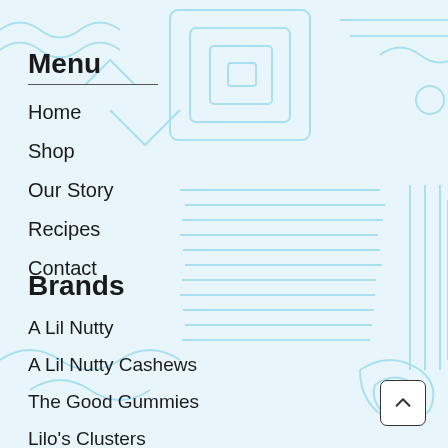[Figure (illustration): Light blue decorative circuit/topographic line pattern background covering the full page]
Menu
Home
Shop
Our Story
Recipes
Contact
Brands
A Lil Nutty
A Lil Nutty Cashews
The Good Gummies
Lilo's Clusters
Lilo & Co.